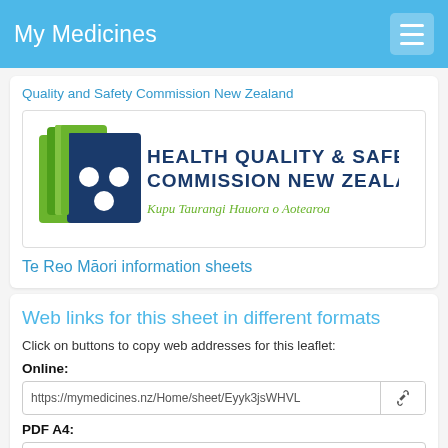My Medicines
Quality and Safety Commission New Zealand
[Figure (logo): Health Quality & Safety Commission New Zealand logo with green and blue book-like shapes and tagline 'Kupu Taurangi Hauora o Aotearoa']
Te Reo Māori information sheets
Web links for this sheet in different formats
Click on buttons to copy web addresses for this leaflet:
Online:
https://mymedicines.nz/Home/sheet/Eyyk3jsWHVL
PDF A4: